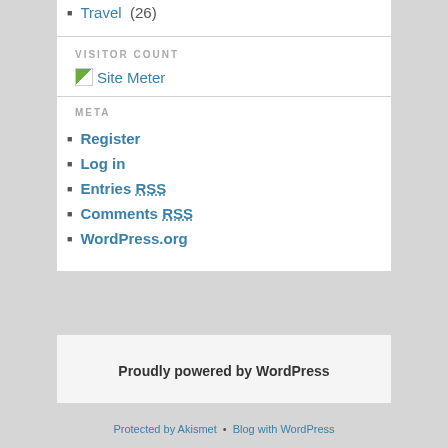Travel (26)
VISITOR COUNT
[Figure (other): Site Meter visitor counter widget image with green icon]
META
Register
Log in
Entries RSS
Comments RSS
WordPress.org
Proudly powered by WordPress
Protected by Akismet • Blog with WordPress